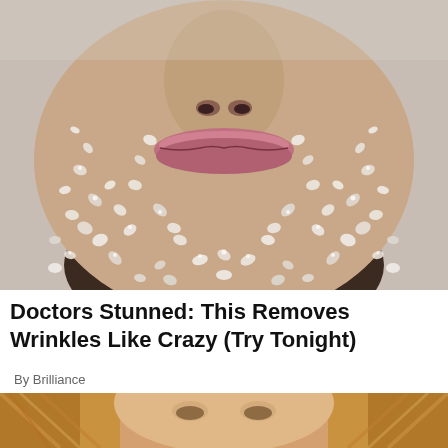[Figure (photo): Close-up photo of a person's face (lower half) covered in coarse salt or sugar crystals, resembling a skin scrub treatment. Set against a gray-white background.]
Doctors Stunned: This Removes Wrinkles Like Crazy (Try Tonight)
By Brilliance
[Figure (photo): Partial photo of a blonde woman's face, visible from the forehead down, cropped at the bottom of the page.]